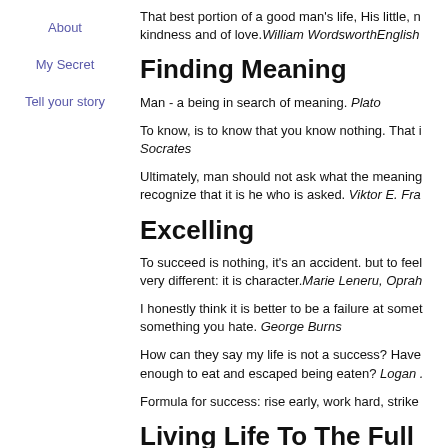About
My Secret
Tell your story
That best portion of a good man's life, His little, n... kindness and of love. William WordsworthEnglish
Finding Meaning
Man - a being in search of meaning. Plato
To know, is to know that you know nothing. That i... Socrates
Ultimately, man should not ask what the meaning... recognize that it is he who is asked. Viktor E. Fra...
Excelling
To succeed is nothing, it's an accident. but to feel... very different: it is character. Marie Leneru, Oprah
I honestly think it is better to be a failure at somet... something you hate. George Burns
How can they say my life is not a success? Have... enough to eat and escaped being eaten? Logan ...
Formula for success: rise early, work hard, strike...
Living Life To The Full